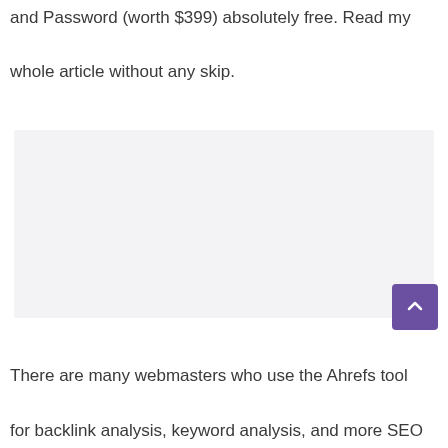and Password (worth $399) absolutely free. Read my whole article without any skip.
[Figure (other): Advertisement or placeholder area with light gray background]
There are many webmasters who use the Ahrefs tool for backlink analysis, keyword analysis, and more SEO